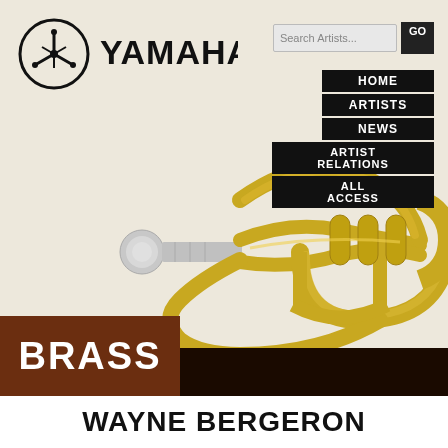[Figure (logo): Yamaha logo with tuning fork symbol and YAMAHA text in black]
[Figure (screenshot): Search Artists input field with GO button]
[Figure (screenshot): Navigation menu with HOME, ARTISTS, NEWS, ARTIST RELATIONS, ALL ACCESS buttons in black]
[Figure (photo): Close-up photograph of a gold/brass Yamaha trumpet with silver mouthpiece on cream/beige background]
BRASS
WAYNE BERGERON